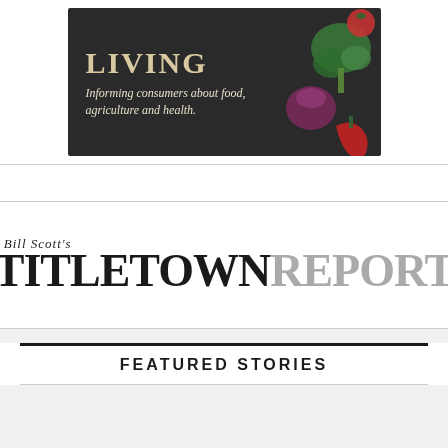[Figure (illustration): Healthy Living banner: dark wood background with vegetables (broccoli, red onion, tomato, chili pepper), large text 'LIVING' and subtitle 'Informing consumers about food, agriculture and health.']
[Figure (logo): Bill Scott's TitletownReport logo in black and gray distressed typography]
FEATURED STORIES